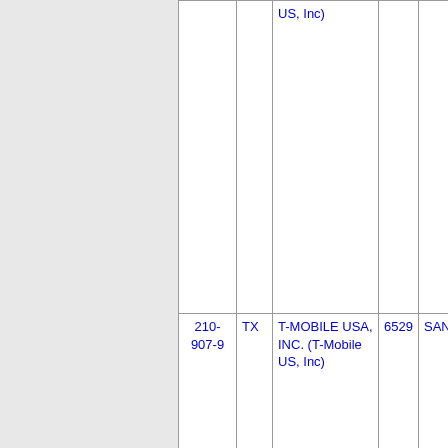| Phone Number | State | Organization | ZIP | City |
| --- | --- | --- | --- | --- |
|  |  | US, Inc) |  |  |
| 210-907-9 | TX | T-MOBILE USA, INC. (T-Mobile US, Inc) | 6529 | SANANTO... |